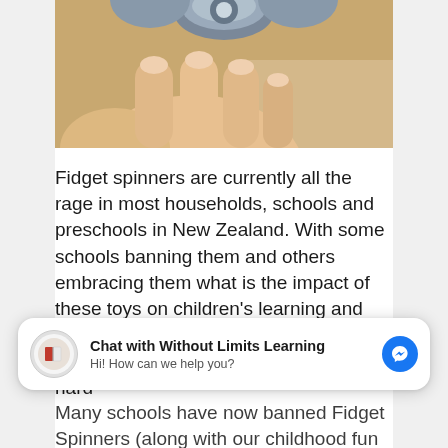[Figure (photo): Close-up photo of a hand holding a fidget spinner, shot from above. The spinner is partially visible at the top, with fingers visible below holding it.]
Fidget spinners are currently all the rage in most households, schools and preschools in New Zealand. With some schools banning them and others embracing them what is the impact of these toys on children’s learning and development? Do our children benefit from such a thing, or are they just too hard
Many schools have now banned Fidget Spinners (along with our childhood fun such